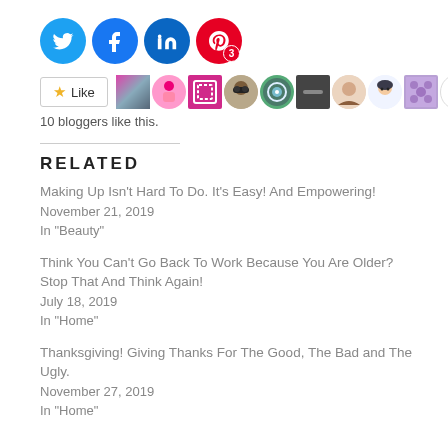[Figure (other): Social sharing icons: Twitter (blue circle), Facebook (blue circle), LinkedIn (blue circle), Pinterest (red circle with badge showing 3)]
[Figure (other): Like button with star icon and avatars of 10 bloggers who liked this]
10 bloggers like this.
RELATED
Making Up Isn’t Hard To Do. It’s Easy! And Empowering!
November 21, 2019
In "Beauty"
Think You Can’t Go Back To Work Because You Are Older? Stop That And Think Again!
July 18, 2019
In "Home"
Thanksgiving! Giving Thanks For The Good, The Bad and The Ugly.
November 27, 2019
In "Home"